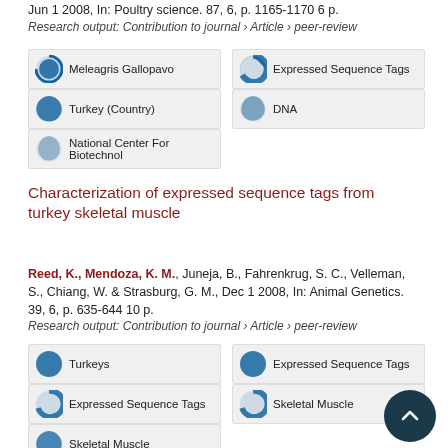Jun 1 2008, In: Poultry science. 87, 6, p. 1165-1170 6 p.
Research output: Contribution to journal › Article › peer-review
Meleagris Gallopavo
Expressed Sequence Tags
Turkey (Country)
DNA
National Center For Biotechnol
Characterization of expressed sequence tags from turkey skeletal muscle
Reed, K., Mendoza, K. M., Juneja, B., Fahrenkrug, S. C., Velleman, S., Chiang, W. & Strasburg, G. M., Dec 1 2008, In: Animal Genetics. 39, 6, p. 635-644 10 p.
Research output: Contribution to journal › Article › peer-review
Turkeys
Expressed Sequence Tags
Expressed Sequence Tags
Skeletal Muscle
Skeletal Muscle